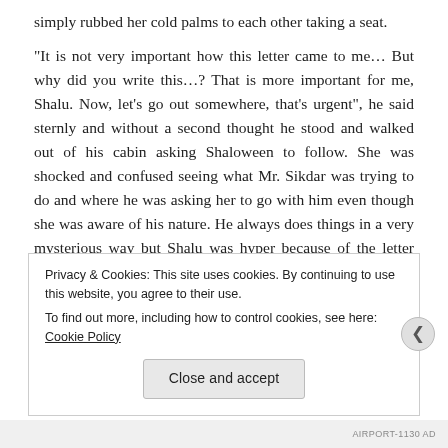simply rubbed her cold palms to each other taking a seat.
“It is not very important how this letter came to me… But why did you write this…? That is more important for me, Shalu. Now, let’s go out somewhere, that’s urgent”, he said sternly and without a second thought he stood and walked out of his cabin asking Shaloween to follow. She was shocked and confused seeing what Mr. Sikdar was trying to do and where he was asking her to go with him even though she was aware of his nature. He always does things in a very mysterious way but Shalu was hyper because of the letter which she wrote against Mr. Chandra which Mr. Sikdar put inside his coat pocket.
Privacy & Cookies: This site uses cookies. By continuing to use this website, you agree to their use.
To find out more, including how to control cookies, see here: Cookie Policy
AIRPORT-1130 AD